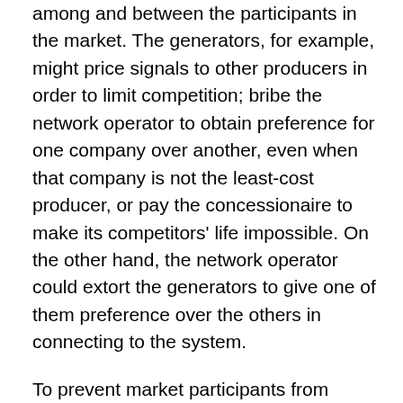among and between the participants in the market. The generators, for example, might price signals to other producers in order to limit competition; bribe the network operator to obtain preference for one company over another, even when that company is not the least-cost producer, or pay the concessionaire to make its competitors' life impossible. On the other hand, the network operator could extort the generators to give one of them preference over the others in connecting to the system.
To prevent market participants from exercising undue power over prices, the regulatory agency must be independent and have the resources and expertise necessary to design and implement the correct incentives to ensure consumers pay the lowest possible prices. Since 2014, Puerto Rico has had a Regulatory Commission, and the diatribe against it on page 36 of PREPA's new financial plan makes me think that the Commission is fulfilling its mission.